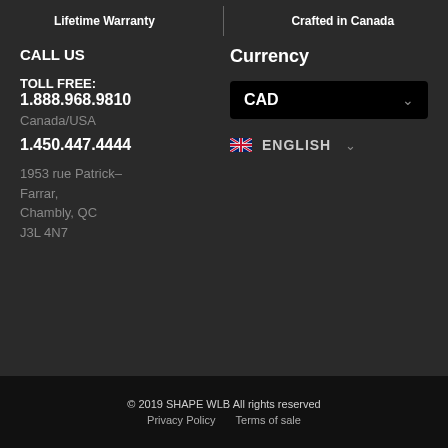Lifetime Warranty
Crafted in Canada
CALL US
Currency
TOLL FREE:
1.888.968.9810
Canada/USA
1.450.447.4444
1953 rue Patrick-Farrar,
Chambly, QC
J3L 4N7
[Figure (other): CAD currency dropdown selector]
[Figure (other): English language selector with UK flag]
© 2019 SHAPE WLB All rights reserved
Privacy Policy   Terms of sale